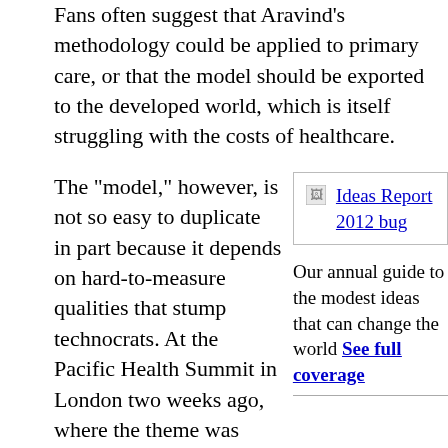Fans often suggest that Aravind's methodology could be applied to primary care, or that the model should be exported to the developed world, which is itself struggling with the costs of healthcare.
The "model," however, is not so easy to duplicate in part because it depends on hard-to-measure qualities that stump technocrats. At the Pacific Health Summit in London two weeks ago, where the theme was technology and affordability, I spoke with Aravind's chief medical officer, Dr. Rengaraj Venkatesh.
[Figure (other): Ideas Report 2012 bug image with broken image icon and link text]
Our annual guide to the modest ideas that can change the world See full coverage